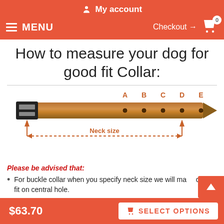My account
MENU  Checkout → 0
How to measure your dog for good fit Collar:
[Figure (illustration): Diagram of a dog collar showing labels A B C D E above the holes on the collar, with arrows indicating 'Neck size' measurement along the bottom.]
Please be advised that:
For buckle collar when you specify neck size we will make collar fit on central hole.
$63.70   SELECT OPTIONS